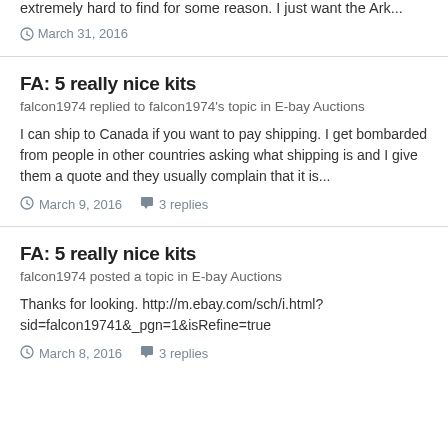extremely hard to find for some reason. I just want the Ark...
March 31, 2016
FA: 5 really nice kits
falcon1974 replied to falcon1974's topic in E-bay Auctions
I can ship to Canada if you want to pay shipping. I get bombarded from people in other countries asking what shipping is and I give them a quote and they usually complain that it is...
March 9, 2016   3 replies
FA: 5 really nice kits
falcon1974 posted a topic in E-bay Auctions
Thanks for looking. http://m.ebay.com/sch/i.html?sid=falcon19741&_pgn=1&isRefine=true
March 8, 2016   3 replies